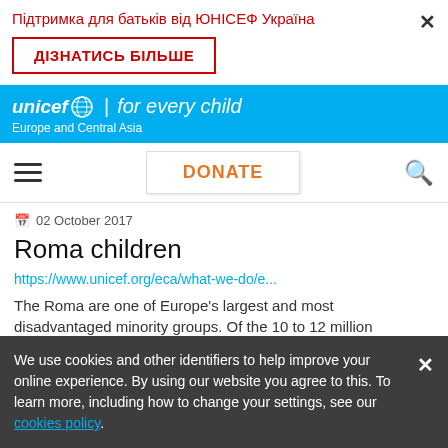Підтримка для батьків від ЮНІСЕФ Україна
ДІЗНАТИСЬ БІЛЬШЕ
[Figure (logo): UNICEF logo with globe icon, text 'unicef for every child', subtitle 'Europe and Central Asia' on blue background]
DONATE
02 October 2017
Roma children
https://www.unicef.org/eca/what-we-do/e...
The Roma are one of Europe's largest and most disadvantaged minority groups. Of the 10 to 12 million
We use cookies and other identifiers to help improve your online experience. By using our website you agree to this. To learn more, including how to change your settings, see our cookies policy.